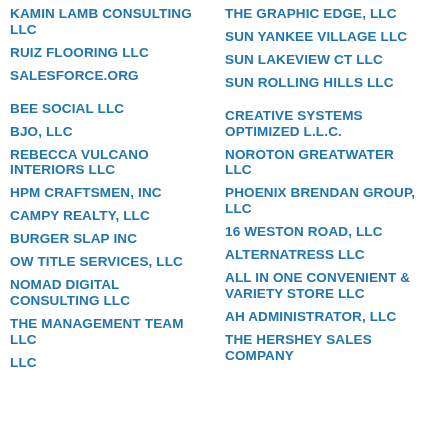KAMIN LAMB CONSULTING LLC
RUIZ FLOORING LLC
SALESFORCE.ORG
BEE SOCIAL LLC
BJO, LLC
REBECCA VULCANO INTERIORS LLC
HPM CRAFTSMEN, INC
CAMPY REALTY, LLC
BURGER SLAP INC
OW TITLE SERVICES, LLC
NOMAD DIGITAL CONSULTING LLC
THE MANAGEMENT TEAM LLC
LLC
THE GRAPHIC EDGE, LLC
SUN YANKEE VILLAGE LLC
SUN LAKEVIEW CT LLC
SUN ROLLING HILLS LLC
CREATIVE SYSTEMS OPTIMIZED L.L.C.
NOROTON GREATWATER LLC
PHOENIX BRENDAN GROUP, LLC
16 WESTON ROAD, LLC
ALTERNATRESS LLC
ALL IN ONE CONVENIENT & VARIETY STORE LLC
AH ADMINISTRATOR, LLC
THE HERSHEY SALES COMPANY